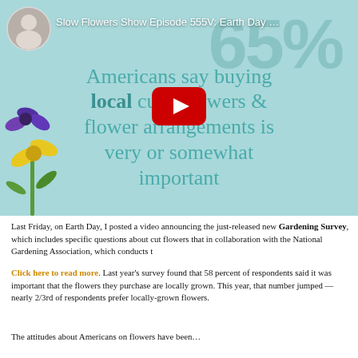[Figure (screenshot): YouTube video thumbnail for 'Slow Flowers Show Episode 555V: Earth Day' showing text 'Americans say buying local cut flowers & flower arrangements is very or somewhat important' on a teal background with a YouTube play button overlay. A profile photo of a woman is in the upper left with the channel name.]
Last Friday, on Earth Day, I posted a video announcing the just-released new Gardening Survey, which includes specific questions about cut flowers that in collaboration with the National Gardening Association, which conducts t
Click here to read more. Last year's survey found that 58 percent of respondents said it was important that the flowers they purchase are locally grown. This year, that number jumped — nearly 2/3rd of respondents prefer locally-grown flowers.
The attitudes about Americans on flowers have been...